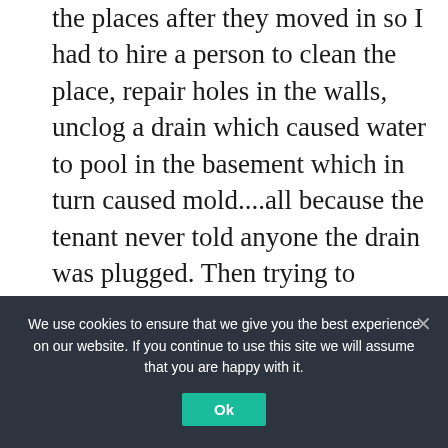the places after they moved in so I had to hire a person to clean the place, repair holes in the walls, unclog a drain which caused water to pool in the basement which in turn caused mold....all because the tenant never told anyone the drain was plugged. Then trying to collect from the deadbeat tenants. The laws favor tenants over landlords so if you need to evict, you have to pay an attorney to go to court. Also, you need to know that when you do go to sell, you have to recapture all the depreciation you took on your income tax return. I'd much
We use cookies to ensure that we give you the best experience on our website. If you continue to use this site we will assume that you are happy with it.